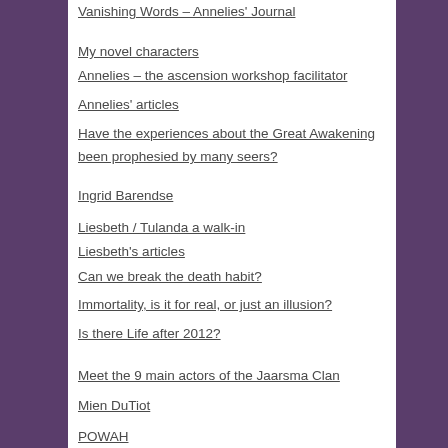Vanishing Words – Annelies' Journal
My novel characters
Annelies – the ascension workshop facilitator
Annelies' articles
Have the experiences about the Great Awakening been prophesied by many seers?
Ingrid Barendse
Liesbeth / Tulanda a walk-in
Liesbeth's articles
Can we break the death habit?
Immortality, is it for real, or just an illusion?
Is there Life after 2012?
Meet the 9 main actors of the Jaarsma Clan
Mien DuTiot
POWAH
POWAH – Our mission statement
The Human Plot – through the Jaarsma Clan's